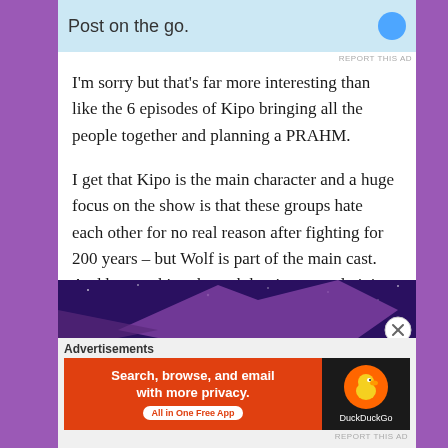[Figure (screenshot): Top advertisement strip with light blue background showing partial text 'Post on the go.' with a blue circular icon on the right, and a 'REPORT THIS AD' label below it.]
I'm sorry but that's far more interesting than like the 6 episodes of Kipo bringing all the people together and planning a PRAHM.
I get that Kipo is the main character and a huge focus on the show is that these groups hate each other for no real reason after fighting for 200 years – but Wolf is part of the main cast. And her working through her issues and giving up what basically amounts to her safety blanket – deserved a lot more focus.
[Figure (screenshot): Bottom portion of an image with dark purple/space background with a large stylized purple arrow or shape. A close/X button appears at the right edge.]
Advertisements
[Figure (screenshot): Advertisement banner for DuckDuckGo app. Left side is orange-red with white bold text 'Search, browse, and email with more privacy.' and a white pill button 'All in One Free App'. Right side is dark/black with the DuckDuckGo orange duck logo and white 'DuckDuckGo' label.]
REPORT THIS AD